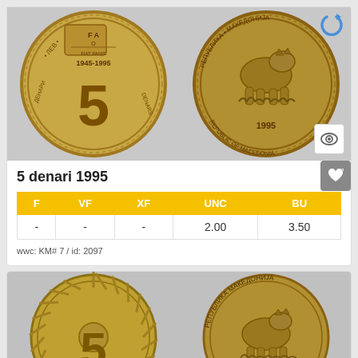[Figure (photo): Two sides of a 5 denari 1995 FAO coin from Republic of Macedonia - obverse showing FAO logo and 5, reverse showing a lynx and 1995]
5 denari 1995
| F | VF | XF | UNC | BU |
| --- | --- | --- | --- | --- |
| - | - | - | 2.00 | 3.50 |
WWC: KM# 7 / ID: 2097
[Figure (photo): Two sides of a 5 denari coin from Republic of Macedonia - obverse showing sunburst and 5 denari, reverse showing a lynx and Cyrillic text РЕПУБЛИКА МАКЕДОНИЈА]